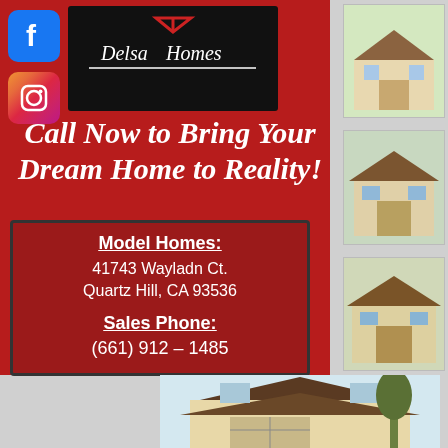[Figure (logo): Delsa Homes logo on black background with red roof/house icon]
[Figure (logo): Facebook icon - blue square with f]
[Figure (logo): Instagram icon - gradient square with camera]
[Figure (logo): Hamburger menu icon - dark gray square with three lines]
Call Now to Bring Your Dream Home to Reality!
Model Homes:
41743 Wayladn Ct.
Quartz Hill, CA 93536

Sales Phone:
(661) 912 - 1485
[Figure (photo): Thumbnail images of houses on right strip]
[Figure (photo): Bottom illustration of two-story house exterior with dark brown roof]